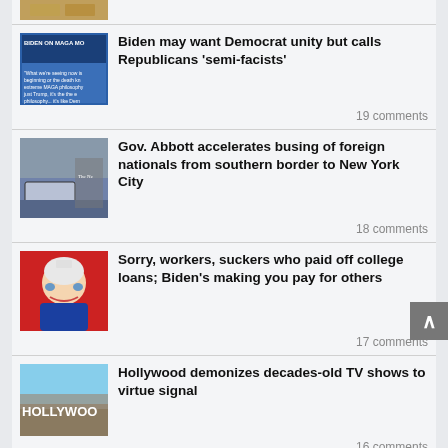[Figure (photo): Partial thumbnail at top of page showing money/cash]
Biden may want Democrat unity but calls Republicans 'semi-facists' — 19 comments
[Figure (photo): Biden on MAGA Moment thumbnail showing text overlay on Biden image]
Gov. Abbott accelerates busing of foreign nationals from southern border to New York City — 18 comments
[Figure (photo): Street scene with bus near New York Times building]
Sorry, workers, suckers who paid off college loans; Biden's making you pay for others — 17 comments
[Figure (illustration): Cartoon caricature of Biden with sunglasses on red background]
Hollywood demonizes decades-old TV shows to virtue signal — 16 comments
[Figure (photo): Hollywood sign against blue sky]